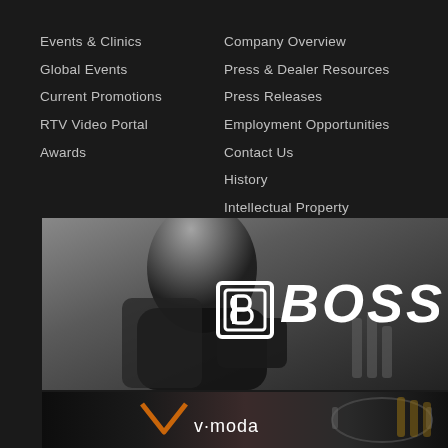Events & Clinics
Global Events
Current Promotions
RTV Video Portal
Awards
Company Overview
Press & Dealer Resources
Press Releases
Employment Opportunities
Contact Us
History
Intellectual Property
[Figure (logo): BOSS brand banner with guitarist silhouette in grayscale, BOSS logo centered in white]
[Figure (logo): V-MODA brand banner with dark background and headphone product image, v-moda orange/white logo on left]